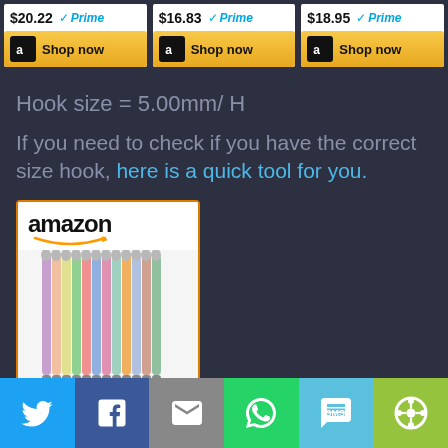[Figure (screenshot): Three Amazon product cards showing prices $20.22, $16.83, $18.95 all with Prime badges and Shop now buttons]
Hook size = 5.00mm/ H
If you need to check if you have the correct size hook, here is a quick tool for you.
[Figure (screenshot): Amazon product widget showing Katech 12 pcs Crochet Hooks at $10.99 with Prime badge]
[Figure (infographic): Social sharing bar with Twitter, Facebook, Email, WhatsApp, SMS, and ShareThis buttons]